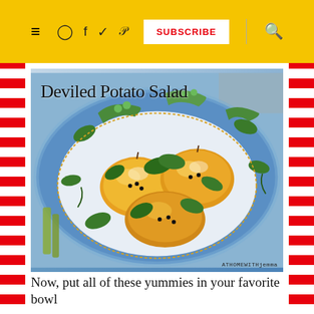≡  ⊙  f  ✓  ℗  SUBSCRIBE  🔍
[Figure (photo): A decorative ceramic bowl hand-painted with lemons, green leaves, pea pods, and vegetable motifs on a blue background. The bowl sits on a table with a blue cloth. Text overlay reads 'Deviled Potato Salad'. Watermark reads 'ATHOMEWITHjemma'.]
Now, put all of these yummies in your favorite bowl